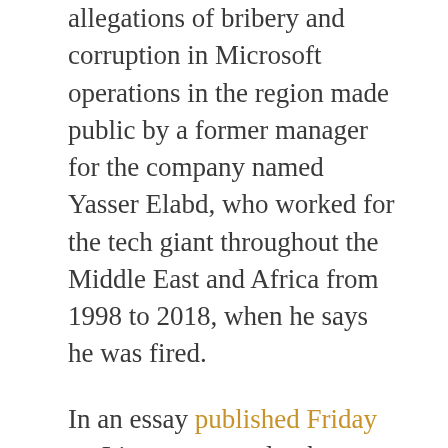allegations of bribery and corruption in Microsoft operations in the region made public by a former manager for the company named Yasser Elabd, who worked for the tech giant throughout the Middle East and Africa from 1998 to 2018, when he says he was fired.
In an essay published Friday on Lioness, an outlet that documents stories from whistleblowers, Elabd alleged that Microsoft employees were involved in widespread bribery schemes across several countries in the region.
Elabd said that in 2016 he realized a